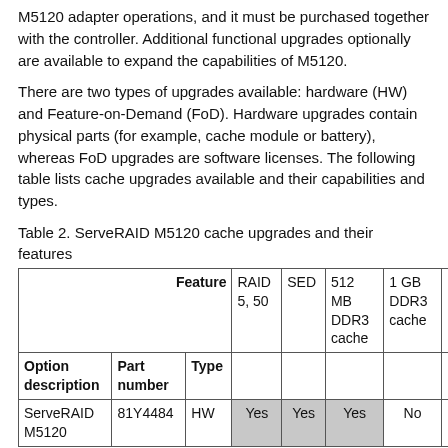M5120 adapter operations, and it must be purchased together with the controller. Additional functional upgrades optionally are available to expand the capabilities of M5120.
There are two types of upgrades available: hardware (HW) and Feature-on-Demand (FoD). Hardware upgrades contain physical parts (for example, cache module or battery), whereas FoD upgrades are software licenses. The following table lists cache upgrades available and their capabilities and types.
Table 2. ServeRAID M5120 cache upgrades and their features
|  | Part number | Type | Feature | RAID 5, 50 | SED | 512 MB DDR3 cache | 1 GB DDR3 cache |
| --- | --- | --- | --- | --- | --- | --- | --- |
| Option description | Part number | Type |  |  |  |  |  |
| ServeRAID M5120 | 81Y4484 | HW |  | Yes | Yes | Yes | No |